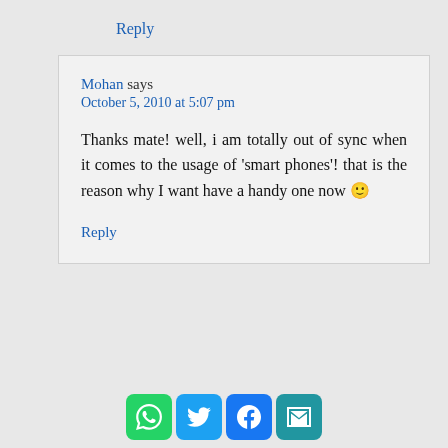Reply
Mohan says
October 5, 2010 at 5:07 pm
Thanks mate! well, i am totally out of sync when it comes to the usage of ‘smart phones’! that is the reason why I want have a handy one now 🙂
Reply
[Figure (infographic): Social sharing buttons: WhatsApp, Twitter, Facebook, Email]